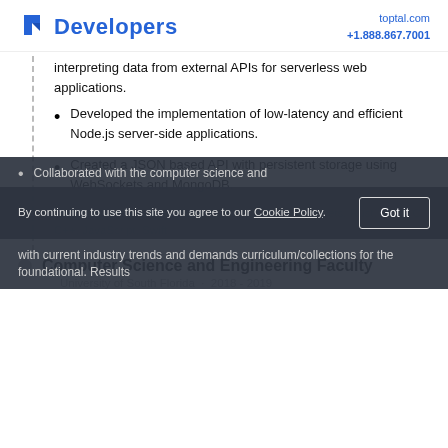Toptal Developers | toptal.com | +1.888.867.7001
interpreting data from external APIs for serverless web applications.
Developed the implementation of low-latency and efficient Node.js server-side applications.
Created a JSON based API with persistent storage using WebSockets and MongoDB.
Technologies: Electron, Node.js, MongoDB, WebSockets, Rust, Ruby, C, C++, JavaScript, Swift
Computer Science and Engineering Faculty
University of South Florida  ·  2018 - 2019
Collaborated with the computer science and
By continuing to use this site you agree to our Cookie Policy.
with current industry trends and demands curriculum/collections for the foundational. Results